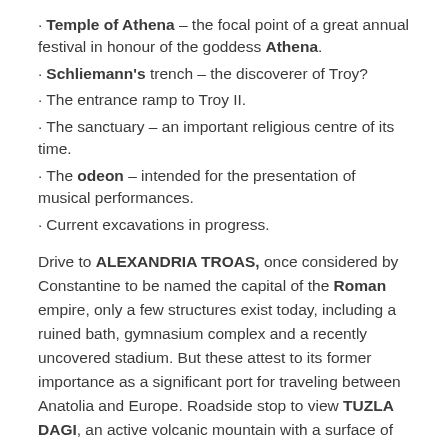Temple of Athena – the focal point of a great annual festival in honour of the goddess Athena.
Schliemann's trench – the discoverer of Troy?
The entrance ramp to Troy II.
The sanctuary – an important religious centre of its time.
The odeon – intended for the presentation of musical performances.
Current excavations in progress.
Drive to ALEXANDRIA TROAS, once considered by Constantine to be named the capital of the Roman empire, only a few structures exist today, including a ruined bath, gymnasium complex and a recently uncovered stadium. But these attest to its former importance as a significant port for traveling between Anatolia and Europe. Roadside stop to view TUZLA DAGI, an active volcanic mountain with a surface of salt stretching out from its base which has been collected for years by locals to use in